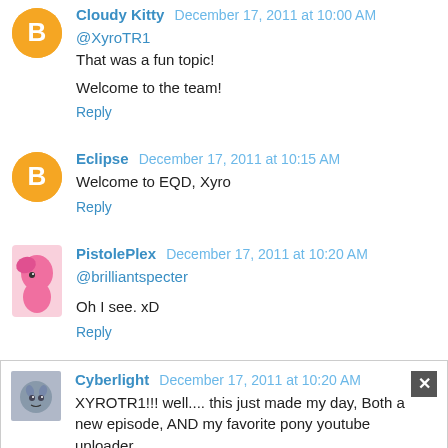Cloudy Kitty December 17, 2011 at 10:00 AM
@XyroTR1
That was a fun topic!

Welcome to the team!
Reply
Eclipse December 17, 2011 at 10:15 AM
Welcome to EQD, Xyro
Reply
PistolePlex December 17, 2011 at 10:20 AM
@brilliantspecter

Oh I see. xD
Reply
Cyberlight December 17, 2011 at 10:20 AM
XYROTR1!!! well.... this just made my day, Both a new episode, AND my favorite pony youtube uploader